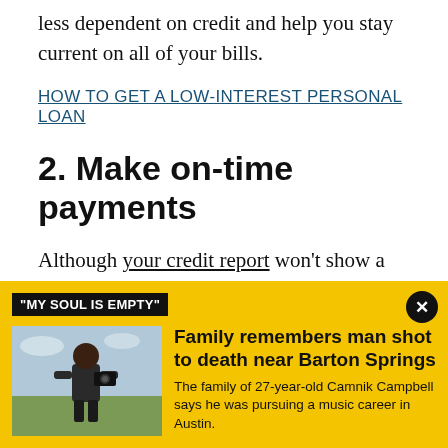less dependent on credit and help you stay current on all of your bills.
HOW TO GET A LOW-INTEREST PERSONAL LOAN
2. Make on-time payments
Although your credit report won't show a late payment that's less than 29 days overdue, your credit card issuer may contact you. If you think you'll be late, contact your bank, credit bureau, or credit card company to let them k…
[Figure (other): News advertisement banner with yellow background. Shows a tag reading 'MY SOUL IS EMPTY', a photo of a man outdoors, headline 'Family remembers man shot to death near Barton Springs', and subtext 'The family of 27-year-old Camnik Campbell says he was pursuing a music career in Austin.' A close (X) button is in the top right.]